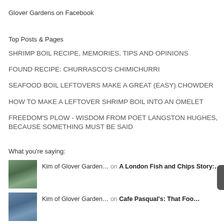Glover Gardens on Facebook
Top Posts & Pages
SHRIMP BOIL RECIPE, MEMORIES, TIPS AND OPINIONS
FOUND RECIPE: CHURRASCO'S CHIMICHURRI
SEAFOOD BOIL LEFTOVERS MAKE A GREAT (EASY) CHOWDER
HOW TO MAKE A LEFTOVER SHRIMP BOIL INTO AN OMELET
FREEDOM'S PLOW - WISDOM FROM POET LANGSTON HUGHES, BECAUSE SOMETHING MUST BE SAID
What you're saying:
Kim of Glover Garden… on A London Fish and Chips Story:…
Kim of Glover Garden… on Cafe Pasqual's: That Foo…